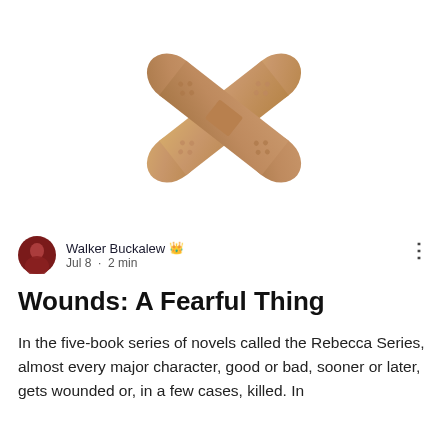[Figure (illustration): Two adhesive bandages (band-aids) crossed in an X shape, tan/skin-tone color on white background]
Walker Buckalew ♛
Jul 8 · 2 min
Wounds: A Fearful Thing
In the five-book series of novels called the Rebecca Series, almost every major character, good or bad, sooner or later, gets wounded or, in a few cases, killed. In